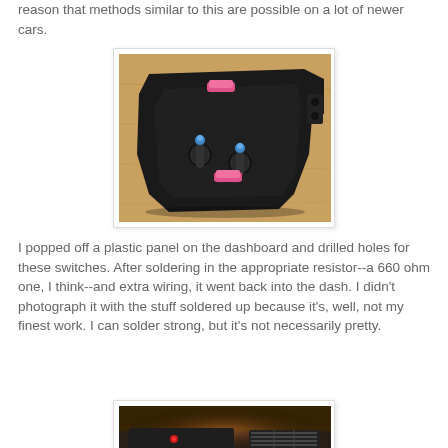reason that methods similar to this are possible on a lot of newer cars.
[Figure (photo): Black plastic dashboard panel with two toggle switches installed, with pink locking clips visible, mounted on a wooden surface]
I popped off a plastic panel on the dashboard and drilled holes for these switches. After soldering in the appropriate resistor--a 660 ohm one, I think--and extra wiring, it went back into the dash. I didn't photograph it with the stuff soldered up because it's, well, not my finest work. I can solder strong, but it's not necessarily pretty.
[Figure (photo): Dashboard interior of a car showing the installed panel with switches, car interior visible]